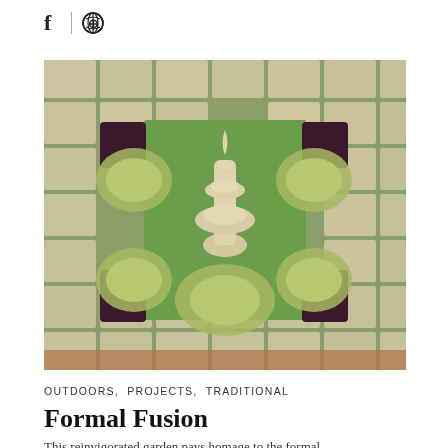f | ⊕
[Figure (photo): Aerial view of a formal garden with a white decorative fountain centerpiece, surrounded by symmetrical plantings of ornamental grasses and dark purple/maroon low shrubs, set in a grid of stone pavers with moss between them.]
OUTDOORS, PROJECTS, TRADITIONAL
Formal Fusion
This reinvigorated garden pays homage to the formal